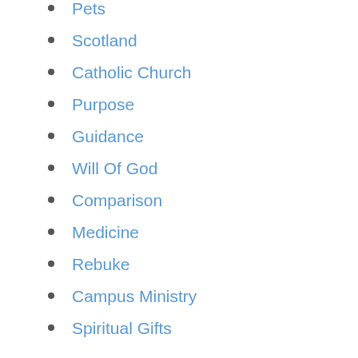Pets
Scotland
Catholic Church
Purpose
Guidance
Will Of God
Comparison
Medicine
Rebuke
Campus Ministry
Spiritual Gifts
Hermeneutics
Miracles
Spiritual Formation
Fruit Of The Spirit
Ambition
Unity
Balance
Easter
Conviction
Idolatry
Courtesy
Soul